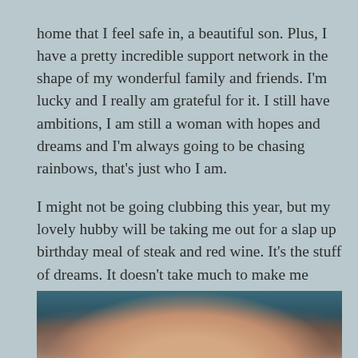home that I feel safe in, a beautiful son. Plus, I have a pretty incredible support network in the shape of my wonderful family and friends. I'm lucky and I really am grateful for it. I still have ambitions, I am still a woman with hopes and dreams and I'm always going to be chasing rainbows, that's just who I am.
I might not be going clubbing this year, but my lovely hubby will be taking me out for a slap up birthday meal of steak and red wine. It's the stuff of dreams. It doesn't take much to make me happy, but I just said it. I'm happy. That's the best birthday present I could ask for.
[Figure (photo): Partial photo at bottom of page showing person with dark hair and hands near face, with blurred colorful background]